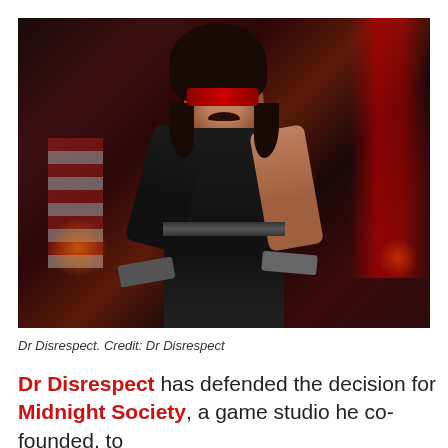[Figure (photo): Dr Disrespect — a muscular man with long dark hair, red-tinted sunglasses, a dark mustache, and a black sleeveless vest, holding guns in both hands, posed dramatically against a dark, bokeh-lit background with an American flag visible at left and red lighting at right.]
Dr Disrespect. Credit: Dr Disrespect
Dr Disrespect has defended the decision for Midnight Society, a game studio he co-founded, to